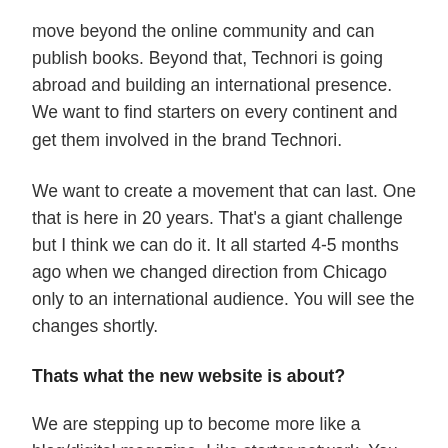move beyond the online community and can publish books.  Beyond that, Technori is going abroad and building an international presence.  We want to find starters on every continent and get them involved in the brand Technori.
We want to create a movement that can last.  One that is here in 20 years.  That's a giant challenge but I think we can do it.  It all started 4-5 months ago when we changed direction from Chicago only to an international audience.  You will see the changes shortly.
Thats what the new website is about?
We are stepping up to become more like a blog/digital magazine.  Like starter network.  You